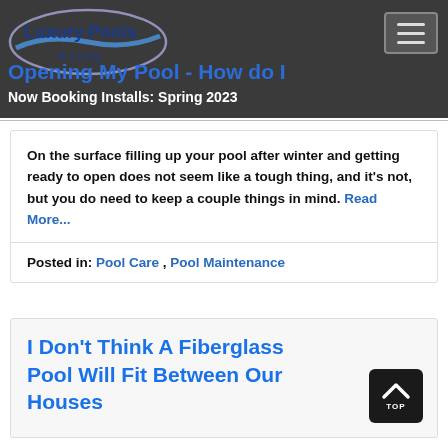Luxury Pools & Living — Now Booking Installs: Spring 2023
Opening My Pool - How do I fill it?
On the surface filling up your pool after winter and getting ready to open does not seem like a tough thing, and it's not, but you do need to keep a couple things in mind. Read More...
Posted in: Pool Care , Pool Maintenance
I Don't Think A Fiberglass Pool Will Fit Between Our Houses